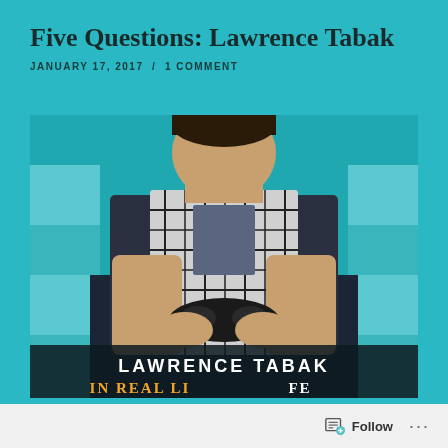Five Questions: Lawrence Tabak
JANUARY 17, 2017  /  1 COMMENT
[Figure (photo): Book cover for 'In Real Life' by Lawrence Tabak, showing a teenage boy holding a video game controller, wearing a plaid shirt, with pixelated background effects. The author name 'LAWRENCE TABAK' is visible at the bottom, along with partial text 'IN REAL LIFE'.]
Follow  ...